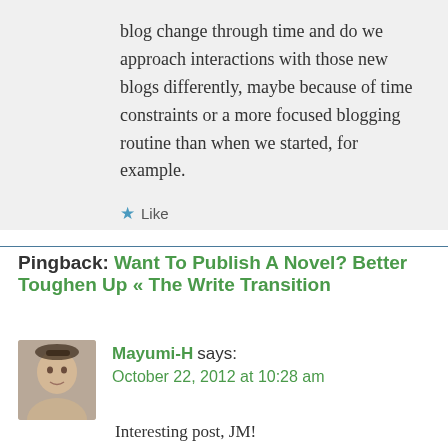blog change through time and do we approach interactions with those new blogs differently, maybe because of time constraints or a more focused blogging routine than when we started, for example.
★ Like
Pingback: Want To Publish A Novel? Better Toughen Up « The Write Transition
Mayumi-H says: October 22, 2012 at 10:28 am
Interesting post, JM!